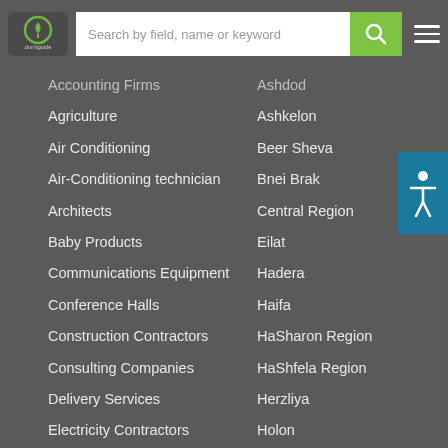[Figure (logo): dun's guide logo - circular green icon with white plant/leaf symbol]
Search by field, name or keyword
Accounting Firms
Ashdod
Agriculture
Ashkelon
Air Conditioning
Beer Sheva
Air-Conditioning technician
Bnei Brak
Architects
Central Region
Baby Products
Eilat
Communications Equipment
Hadera
Conference Halls
Haifa
Construction Contractors
HaSharon Region
Consulting Companies
HaShfela Region
Delivery Services
Herzliya
Electricity Contractors
Holon
Electronic Components
Jerusalem
Engineers
Jerusalem Region